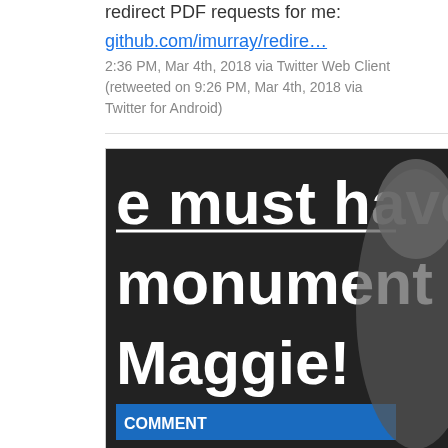redirect PDF requests for me:
github.com/imurray/redire…
2:36 PM, Mar 4th, 2018 via Twitter Web Client (retweeted on 9:26 PM, Mar 4th, 2018 via Twitter for Android)
[Figure (photo): Photo of a newspaper or magazine page with text: 'e must have monument Maggie!' with a COMMENT by JO SWINSON header]
christreilly Done
pic.twitter.com/LlDCJ0vunQ
6:28 PM, Mar 4th, 2018 via Twitter for iPhone (retweeted on 9:19 PM, Mar 4th, 2018 via Twitter for Android)
PerryFellow Uh oh it"""""""""""""""""""""""""""""""""""""""""""""""""""""""""""""""""
an apostrophe catastrophe